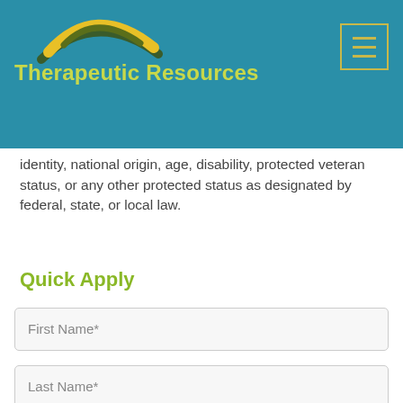Therapeutic Resources
identity, national origin, age, disability, protected veteran status, or any other protected status as designated by federal, state, or local law.
Quick Apply
First Name*
Last Name*